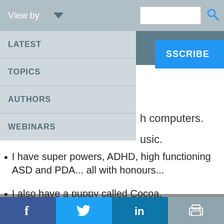View by
LATEST
TOPICS
AUTHORS
WEBINARS
h computers.
usic.
I have super powers, ADHD, high functioning ASD and PDA... all with honours...
I also have a puppy called Cocoa.
[Figure (photo): Handwritten text on paper, partially visible]
This website uses cookies to improve user experience. By using our website you consent to all cookies in accordance with our Cookie Policy. Read more
I agree   I disagree